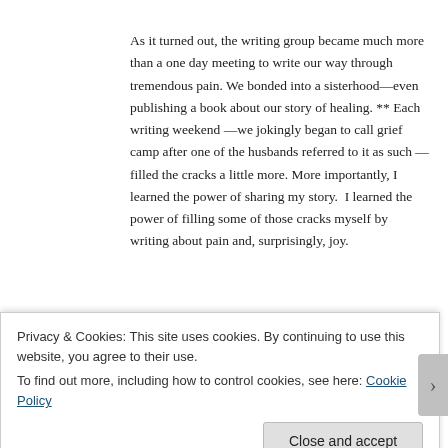As it turned out, the writing group became much more than a one day meeting to write our way through tremendous pain. We bonded into a sisterhood—even publishing a book about our story of healing. ** Each writing weekend —we jokingly began to call grief camp after one of the husbands referred to it as such —filled the cracks a little more. More importantly, I learned the power of sharing my story.  I learned the power of filling some of those cracks myself by writing about pain and, surprisingly, joy.
Privacy & Cookies: This site uses cookies. By continuing to use this website, you agree to their use.
To find out more, including how to control cookies, see here: Cookie Policy
Close and accept